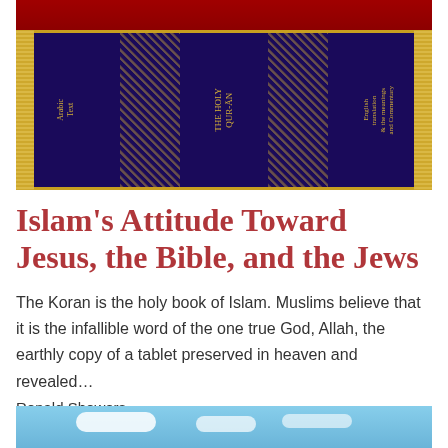[Figure (photo): Photo of The Holy Quran book spine with gold lettering on dark blue/navy background, with a red book partially visible at top]
Islam's Attitude Toward Jesus, the Bible, and the Jews
The Koran is the holy book of Islam. Muslims believe that it is the infallible word of the one true God, Allah, the earthly copy of a tablet preserved in heaven and revealed…
Renald Showers
[Figure (photo): Partial photo showing blue sky with clouds visible at the bottom of the page]